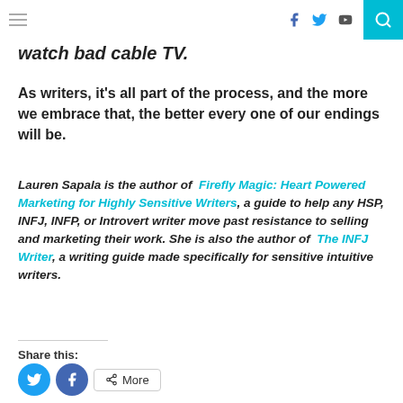Navigation bar with hamburger menu, social icons (Facebook, Twitter, YouTube), and search button
watch bad cable TV.
As writers, it's all part of the process, and the more we embrace that, the better every one of our endings will be.
Lauren Sapala is the author of Firefly Magic: Heart Powered Marketing for Highly Sensitive Writers, a guide to help any HSP, INFJ, INFP, or Introvert writer move past resistance to selling and marketing their work. She is also the author of The INFJ Writer, a writing guide made specifically for sensitive intuitive writers.
Share this:
[Figure (other): Share buttons: Twitter (blue circle), Facebook (blue circle), and More button with share icon]